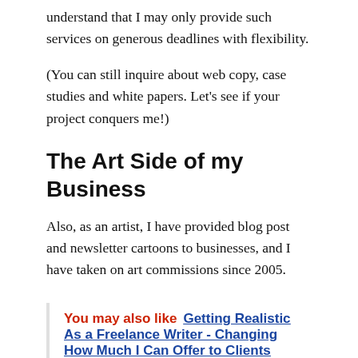understand that I may only provide such services on generous deadlines with flexibility.
(You can still inquire about web copy, case studies and white papers. Let’s see if your project conquers me!)
The Art Side of my Business
Also, as an artist, I have provided blog post and newsletter cartoons to businesses, and I have taken on art commissions since 2005.
You may also like  Getting Realistic As a Freelance Writer - Changing How Much I Can Offer to Clients (2017)
Year 2020 is a huge turning point for me, as I want to